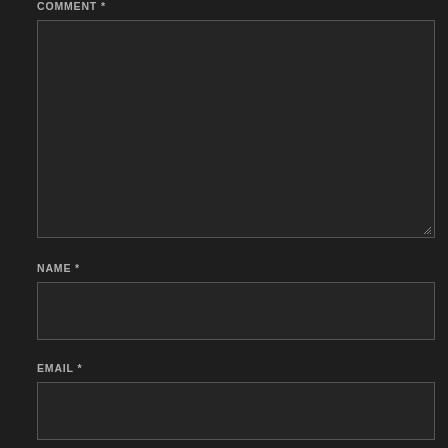COMMENT *
[Figure (other): Large dark textarea input box for comment with resize handle at bottom-right]
NAME *
[Figure (other): Single-line dark input box for name]
EMAIL *
[Figure (other): Single-line dark input box for email]